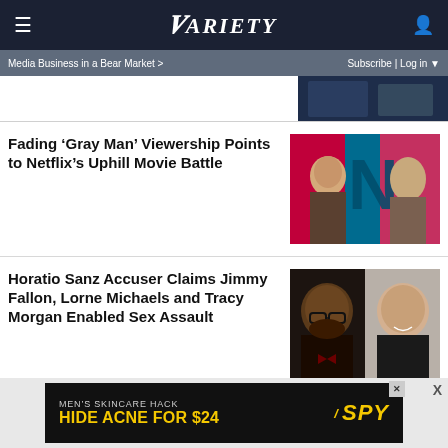VARIETY
Media Business in a Bear Market > | Subscribe | Log in
[Figure (photo): Partial cropped photo of people in suits, dark background, top right corner]
Fading ‘Gray Man’ Viewership Points to Netflix’s Uphill Movie Battle
[Figure (photo): Netflix movie The Gray Man promotional image with two actors on red and teal background with large N logo]
Horatio Sanz Accuser Claims Jimmy Fallon, Lorne Michaels and Tracy Morgan Enabled Sex Assault
[Figure (photo): Side by side photos of Horatio Sanz and Jimmy Fallon]
[Figure (photo): Advertisement: MEN’S SKINCARE HACK HIDE ACNE FOR $24 / SPY]